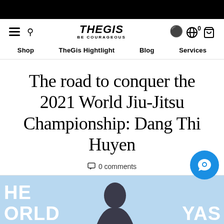[Figure (logo): TheGis Be Courageous logo with hamburger menu, search icon, globe and cart icons]
Shop   TheGis Hightlight   Blog   Services
The road to conquer the 2021 World Jiu-Jitsu Championship: Dang Thi Huyen
0 comments
[Figure (photo): Partial banner image showing 'THE WORLD' text on left, 'YAS' text on right, with a person's silhouette in the center on a light blue background]